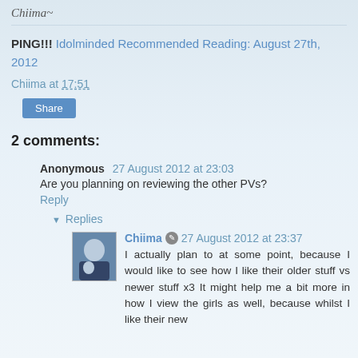Chiima~
PING!!! Idolminded Recommended Reading: August 27th, 2012
Chiima at 17:51
Share
2 comments:
Anonymous  27 August 2012 at 23:03
Are you planning on reviewing the other PVs?
Reply
▾ Replies
Chiima  27 August 2012 at 23:37
I actually plan to at some point, because I would like to see how I like their older stuff vs newer stuff x3 It might help me a bit more in how I view the girls as well, because whilst I like their new